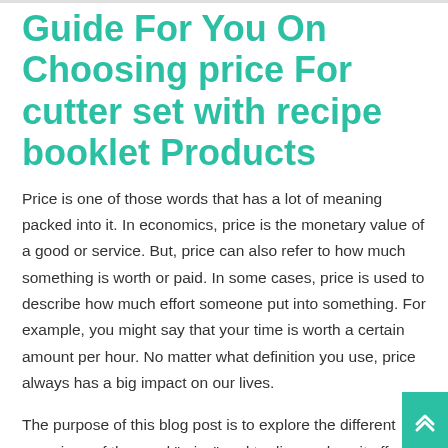Guide For You On Choosing price For cutter set with recipe booklet Products
Price is one of those words that has a lot of meaning packed into it. In economics, price is the monetary value of a good or service. But, price can also refer to how much something is worth or paid. In some cases, price is used to describe how much effort someone put into something. For example, you might say that your time is worth a certain amount per hour. No matter what definition you use, price always has a big impact on our lives.
The purpose of this blog post is to explore the different meanings of the word "price" and to discuss how it affects our lives. I will provide some examples of how price has played a role in my life and offer my opinion on what people should consider when